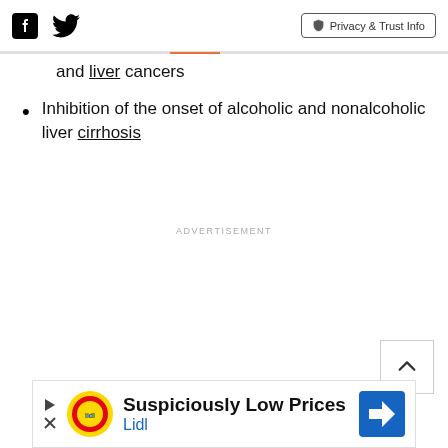Social media icons and Privacy & Trust Info button
and liver cancers
Inhibition of the onset of alcoholic and nonalcoholic liver cirrhosis
ADVERTISEMENT
ADVERTISEMENT
[Figure (other): Lidl advertisement banner: Suspiciously Low Prices - Lidl logo with navigation arrow]
Suspiciously Low Prices Lidl